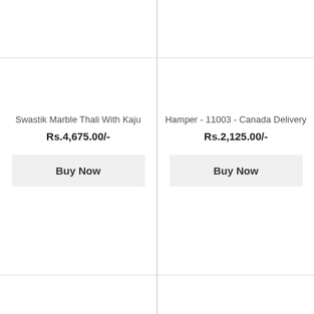[Figure (photo): Top partial product image area (left), cut off at top]
[Figure (photo): Top partial product image area (right), cut off at top]
Swastik Marble Thali With Kaju
Rs.4,675.00/-
Buy Now
Hamper - 11003 - Canada Delivery
Rs.2,125.00/-
Buy Now
[Figure (photo): Bottom partial product image area (left), cut off at bottom]
[Figure (photo): Bottom partial product image area (right), cut off at bottom]